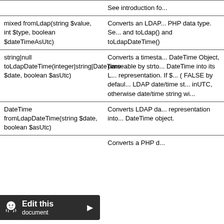| Method | Description |
| --- | --- |
|  | See introduction fo... |
| mixed fromLdap(string $value, int $type, boolean $dateTimeAsUtc) | Converts an LDAP... PHP data type. Se... and toLdap() and toLdapDateTime() |
| string|null toLdapDateTime(integer|string|DateTime $date, boolean $asUtc) | Converts a timesta... DateTime Object, parseable by strto... DateTime into its L... representation. If $... ( FALSE by defaul... LDAP date/time st... inUTC, otherwise date/time string wi... |
| DateTime fromLdapDateTime(string $date, boolean $asUtc) | Converts LDAP da... representation into... DateTime object. |
|  | Converts a PHP d... |